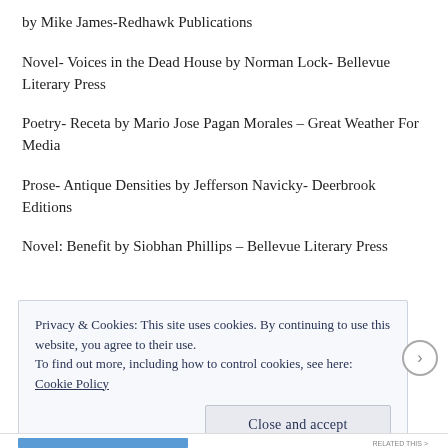by Mike James-Redhawk Publications
Novel- Voices in the Dead House by Norman Lock- Bellevue Literary Press
Poetry- Receta by Mario Jose Pagan Morales – Great Weather For Media
Prose- Antique Densities by Jefferson Navicky- Deerbrook Editions
Novel: Benefit by Siobhan Phillips – Bellevue Literary Press
Privacy & Cookies: This site uses cookies. By continuing to use this website, you agree to their use.
To find out more, including how to control cookies, see here: Cookie Policy
Close and accept